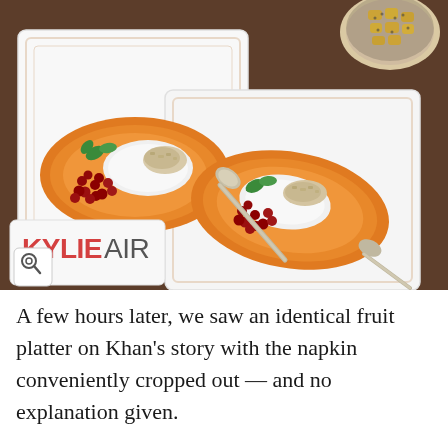[Figure (photo): Overhead view of two halved papayas filled with white cream, pomegranate seeds, granola, and mint leaves, arranged on white square plates on a dark table. A silver spoon is visible between the plates. A white box labeled 'KYLIEAIR' appears in the bottom left corner. A glass bowl with yellow mango cubes and chia seeds is visible in the top right corner. A magnifying glass zoom icon appears over the image.]
A few hours later, we saw an identical fruit platter on Khan's story with the napkin conveniently cropped out — and no explanation given.